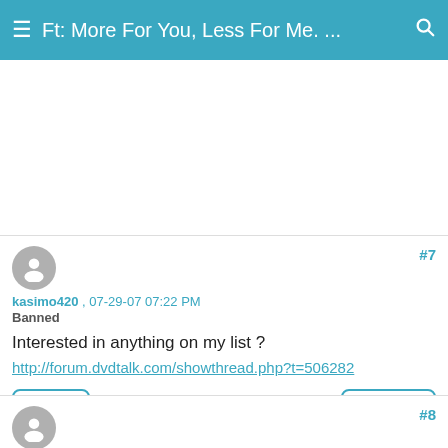Ft: More For You, Less For Me. ...
[Figure (other): Advertisement banner area (blank white space)]
#7
kasimo420 , 07-29-07 07:22 PM
Banned
Interested in anything on my list ?
http://forum.dvdtalk.com/showthread.php?t=506282
#8